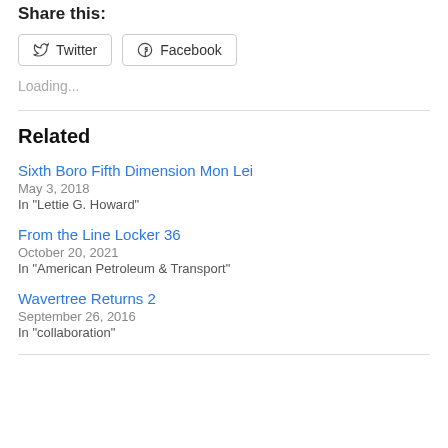Share this:
[Figure (other): Social share buttons: Twitter and Facebook]
Loading...
Related
Sixth Boro Fifth Dimension Mon Lei
May 3, 2018
In "Lettie G. Howard"
From the Line Locker 36
October 20, 2021
In "American Petroleum & Transport"
Wavertree Returns 2
September 26, 2016
In "collaboration"